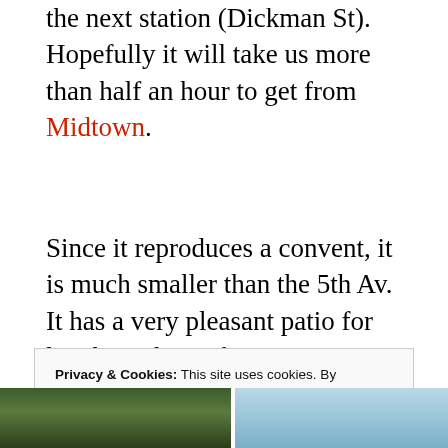the next station (Dickman St). Hopefully it will take us more than half an hour to get from Midtown.
Since it reproduces a convent, it is much smaller than the 5th Av. It has a very pleasant patio for lunch, with a cafeteria at prices similar to those of the previous building.
Privacy & Cookies: This site uses cookies. By continuing to use this website, you agree to their use. To find out more, including how to control cookies, see here: Cookie Policy
[Figure (photo): Two photos partially visible at the bottom of the page showing buildings/outdoor scenes]